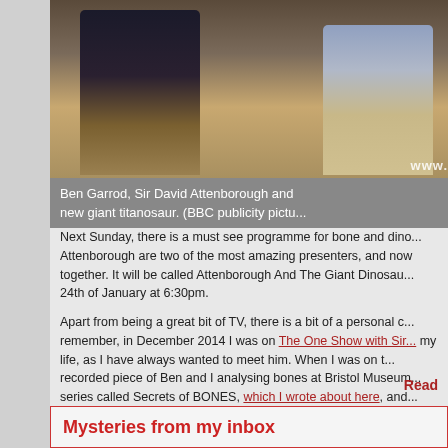[Figure (photo): Two men standing, one in dark shirt and one in light blue shirt, photo of Ben Garrod and Sir David Attenborough]
Ben Garrod, Sir David Attenborough and new giant titanosaur. (BBC publicity pictu...
Next Sunday, there is a must see programme for bone and dino... Attenborough are two of the most amazing presenters, and now together. It will be called Attenborough And The Giant Dinosau... 24th of January at 6:30pm.
Apart from being a great bit of TV, there is a bit of a personal c... remember, in December 2014 I was on The One Show with Sir... my life, as I have always wanted to meet him. When I was on t... recorded piece of Ben and I analysing bones at Bristol Museum... series called Secrets of BONES, which I wrote about here, and... first met at the Grant Museum in London) .Read on to find out m...
Read
Mysteries from my inbox